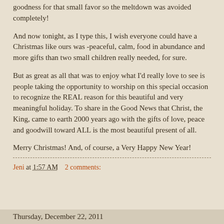goodness for that small favor so the meltdown was avoided completely!
And now tonight, as I type this, I wish everyone could have a Christmas like ours was -peaceful, calm, food in abundance and more gifts than two small children really needed, for sure.
But as great as all that was to enjoy what I'd really love to see is people taking the opportunity to worship on this special occasion to recognize the REAL reason for this beautiful and very meaningful holiday. To share in the Good News that Christ, the King, came to earth 2000 years ago with the gifts of love, peace and goodwill toward ALL is the most beautiful present of all.
Merry Christmas! And, of course, a Very Happy New Year!
Jeni at 1:57 AM    2 comments:
Thursday, December 22, 2011